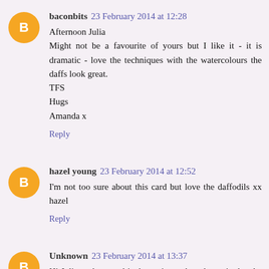baconbits 23 February 2014 at 12:28
Afternoon Julia
Might not be a favourite of yours but I like it - it is dramatic - love the techniques with the watercolours the daffs look great.
TFS
Hugs
Amanda x
Reply
hazel young 23 February 2014 at 12:52
I'm not too sure about this card but love the daffodils xx hazel
Reply
Unknown 23 February 2014 at 13:37
Hi Julia, todays card is dramatic yes but also quite lovely. You are quite a harsh critic about your own work but we love what you do. i ordered some stamps yesterday so will try to wait patiently